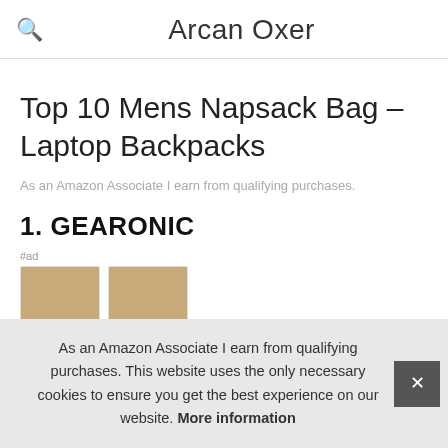Arcan Oxer
Top 10 Mens Napsack Bag – Laptop Backpacks
As an Amazon Associate I earn from qualifying purchases.
1. GEARONIC
#ad
As an Amazon Associate I earn from qualifying purchases. This website uses the only necessary cookies to ensure you get the best experience on our website. More information